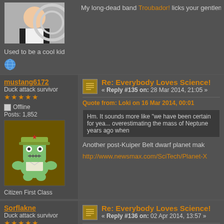[Figure (photo): Partial avatar of a person wearing a black and white baseball shirt, cropped at top]
Used to be a cool kid
[Figure (illustration): Globe emoji icon]
My long-dead band Troubador! licks your gentle...
mustang6172
Duck attack survivor
★★★★★
Offline
Posts: 1,852
[Figure (illustration): Cartoon avatar of a green robot-like character wearing a military hat, holding an envelope]
Citizen First Class
Re: Everybody Loves Science!
« Reply #135 on: 28 Mar 2014, 21:05 »
Quote from: Loki on 16 Mar 2014, 00:01
Hm. It sounds more like "we have been certain for yea... overestimating the mass of Neptune years ago when...
Another post-Kuiper Belt dwarf planet mak...
http://www.newsmax.com/SciTech/Planet-X...
Sorflakne
Duck attack survivor
★★★★★
Offline
Posts: 1,712
Re: Everybody Loves Science!
« Reply #136 on: 02 Apr 2014, 13:57 »
Since we're talking about space, how abou...